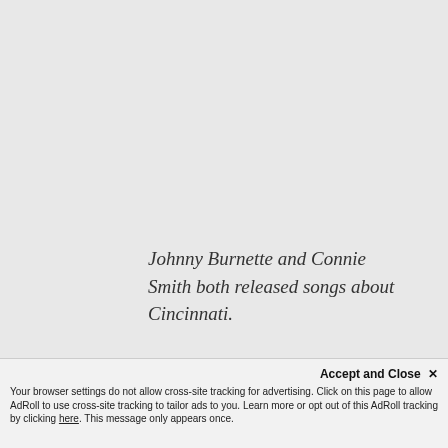Johnny Burnette and Connie Smith both released songs about Cincinnati.
Accept and Close ✕
Your browser settings do not allow cross-site tracking for advertising. Click on this page to allow AdRoll to use cross-site tracking to tailor ads to you. Learn more or opt out of this AdRoll tracking by clicking here. This message only appears once.